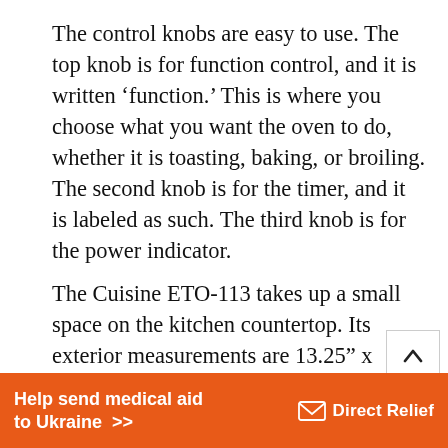The control knobs are easy to use. The top knob is for function control, and it is written ‘function.’ This is where you choose what you want the oven to do, whether it is toasting, baking, or broiling. The second knob is for the timer, and it is labeled as such. The third knob is for the power indicator.
The Cuisine ETO-113 takes up a small space on the kitchen countertop. Its exterior measurements are 13.25” x 5.25” x 6.5,” and the interior is 9.75” x 5” x 4.5”. Its small size
Help send medical aid to Ukraine >>